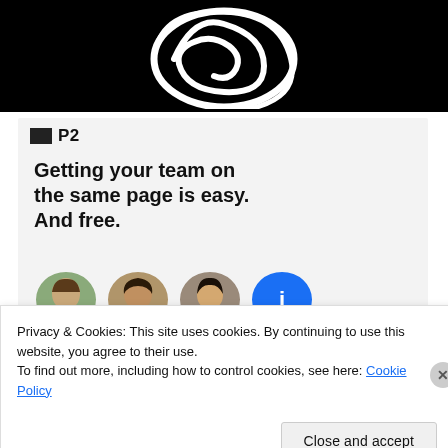[Figure (illustration): Black background with white swirl/spiral logo design at top of page]
[Figure (screenshot): Card area with P2 logo icon and bold headline text 'Getting your team on the same page is easy. And free.' with avatar circles below]
Privacy & Cookies: This site uses cookies. By continuing to use this website, you agree to their use.
To find out more, including how to control cookies, see here: Cookie Policy
Close and accept